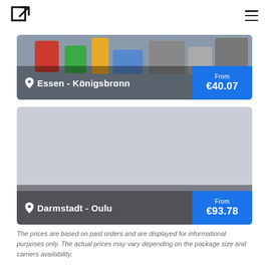[Figure (photo): Parcel/luggage card showing route Essen - Königsbronn with price From €40.07]
[Figure (photo): Parcel/luggage card showing route Darmstadt - Oulu with price From €93.78]
The prices are based on past orders and are displayed for informational purposes only. The actual prices may vary depending on the package size and carriers availability.